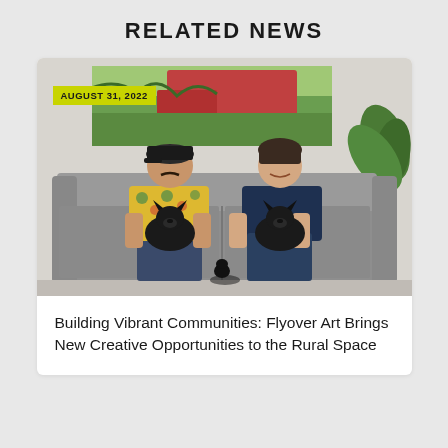RELATED NEWS
[Figure (photo): Two people sitting on a gray sofa, each holding a small black dog. The person on the left wears a floral shirt and cap; the person on the right wears a dark blue top. A colorful artwork painting hangs on the wall behind them, and a plant is visible on the right. A yellow-green date badge reads AUGUST 31, 2022.]
Building Vibrant Communities: Flyover Art Brings New Creative Opportunities to the Rural Space